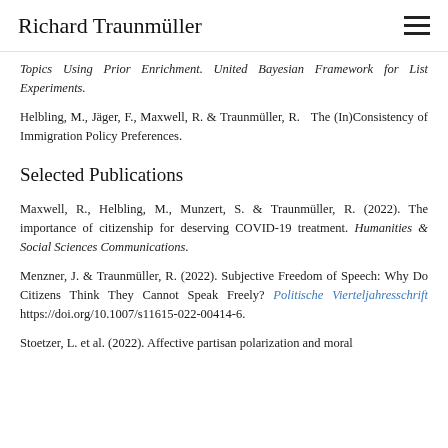Richard Traunmüller
Topics Using Prior Enrichment. United Bayesian Framework for List Experiments.
Helbling, M., Jäger, F., Maxwell, R. & Traunmüller, R. The (In)Consistency of Immigration Policy Preferences.
Selected Publications
Maxwell, R., Helbling, M., Munzert, S. & Traunmüller, R. (2022). The importance of citizenship for deserving COVID-19 treatment. Humanities & Social Sciences Communications.
Menzner, J. & Traunmüller, R. (2022). Subjective Freedom of Speech: Why Do Citizens Think They Cannot Speak Freely? Politische Vierteljahresschrift https://doi.org/10.1007/s11615-022-00414-6.
Stoetzer, L. et al. (2022). Affective partisan polarization and moral